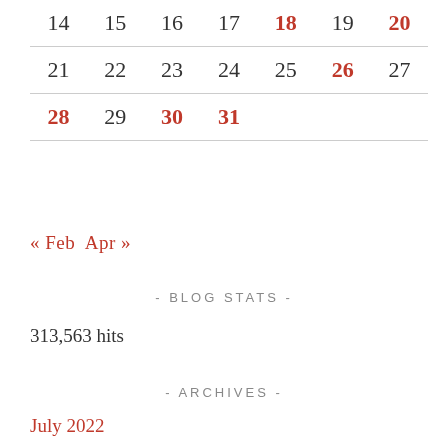|  |  |  |  |  |  |  |
| --- | --- | --- | --- | --- | --- | --- |
| 14 | 15 | 16 | 17 | 18 | 19 | 20 |
| 21 | 22 | 23 | 24 | 25 | 26 | 27 |
| 28 | 29 | 30 | 31 |  |  |  |
« Feb   Apr »
- BLOG STATS -
313,563 hits
- ARCHIVES -
July 2022